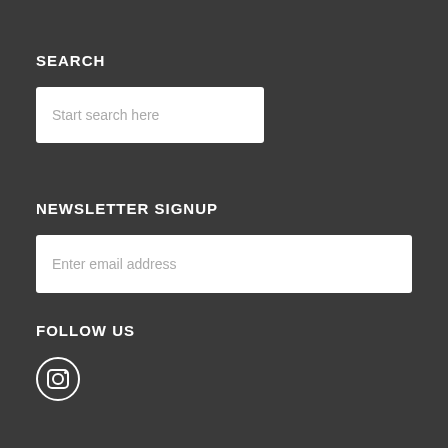SEARCH
[Figure (screenshot): Search input field with placeholder text 'Start search here']
NEWSLETTER SIGNUP
[Figure (screenshot): Email input field with placeholder text 'Enter email address']
FOLLOW US
[Figure (logo): Instagram icon - white camera icon inside a white circle outline on dark background]